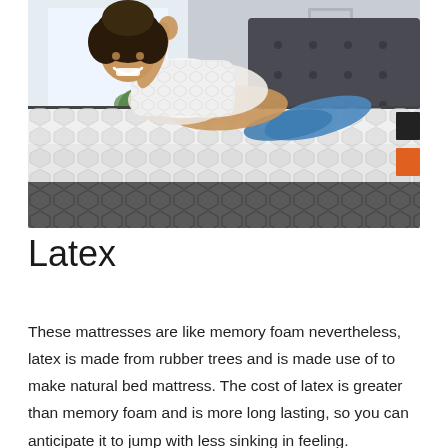[Figure (photo): A smiling woman with curly hair lying on a mattress, hugging a pillow. The mattress has a white quilted top and a dark grey hexagonal-pattern base. A green plant and bright window are visible in the background.]
Latex
These mattresses are like memory foam nevertheless, latex is made from rubber trees and is made use of to make natural bed mattress. The cost of latex is greater than memory foam and is more long lasting, so you can anticipate it to jump with less sinking in feeling.